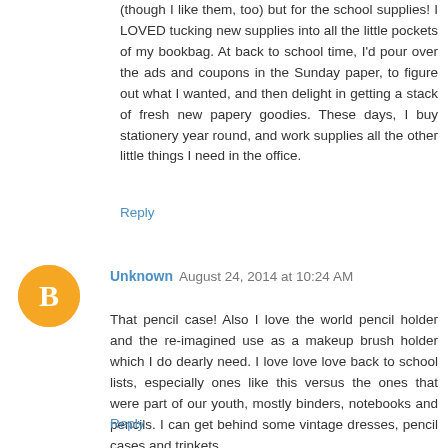(though I like them, too) but for the school supplies! I LOVED tucking new supplies into all the little pockets of my bookbag. At back to school time, I'd pour over the ads and coupons in the Sunday paper, to figure out what I wanted, and then delight in getting a stack of fresh new papery goodies. These days, I buy stationery year round, and work supplies all the other little things I need in the office.
Reply
Unknown  August 24, 2014 at 10:24 AM
That pencil case! Also I love the world pencil holder and the re-imagined use as a makeup brush holder which I do dearly need. I love love love back to school lists, especially ones like this versus the ones that were part of our youth, mostly binders, notebooks and pencils. I can get behind some vintage dresses, pencil cases and trinkets.
Justine
http://theredlipchronicles.blogspot.com
Reply